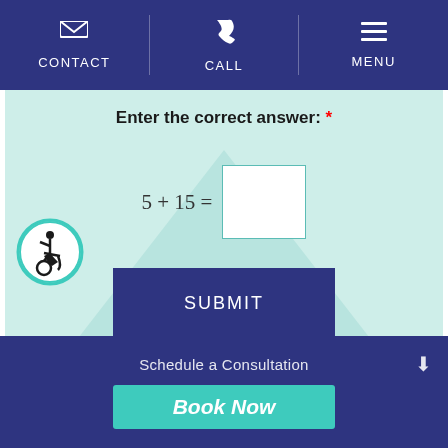CONTACT | CALL | MENU
Enter the correct answer: *
SUBMIT
[Figure (illustration): Accessibility icon - wheelchair user symbol in teal circle]
Schedule a Consultation
Book Now